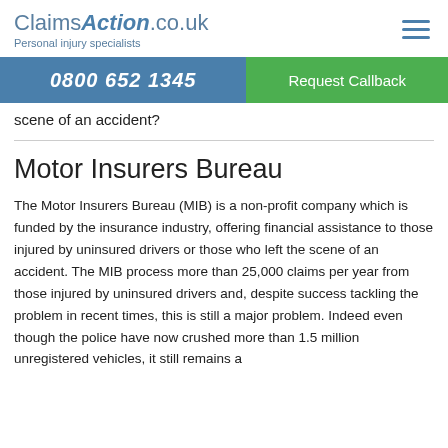Claims Action .co.uk — Personal injury specialists
0800 652 1345
Request Callback
scene of an accident?
Motor Insurers Bureau
The Motor Insurers Bureau (MIB) is a non-profit company which is funded by the insurance industry, offering financial assistance to those injured by uninsured drivers or those who left the scene of an accident. The MIB process more than 25,000 claims per year from those injured by uninsured drivers and, despite success tackling the problem in recent times, this is still a major problem. Indeed even though the police have now crushed more than 1.5 million unregistered vehicles, it still remains a serious issue.